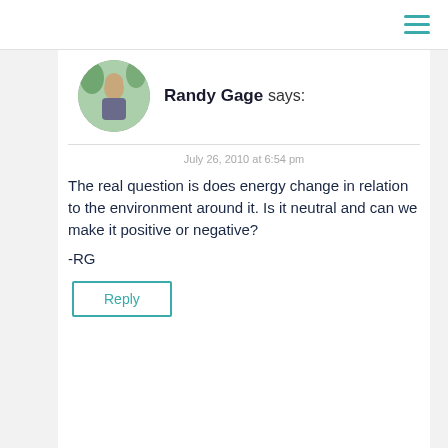[Figure (screenshot): Hamburger menu icon (three horizontal teal lines) in top-right corner]
[Figure (photo): Circular avatar photo of Randy Gage, a man standing outdoors with palm trees in background]
Randy Gage says:
July 26, 2010 at 6:54 pm
The real question is does energy change in relation to the environment around it. Is it neutral and can we make it positive or negative?
-RG